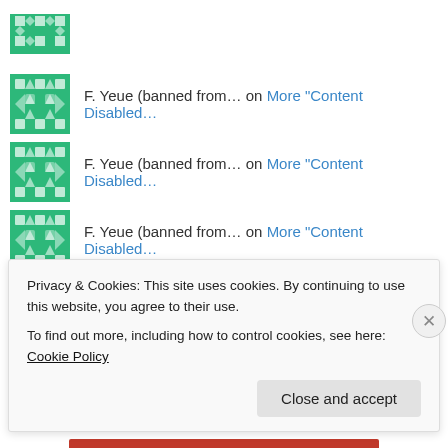F. Yeue (banned from… on More "Content Disabled…
F. Yeue (banned from… on More "Content Disabled…
F. Yeue (banned from… on More "Content Disabled…
Archives
March 2021
Privacy & Cookies: This site uses cookies. By continuing to use this website, you agree to their use.
To find out more, including how to control cookies, see here: Cookie Policy